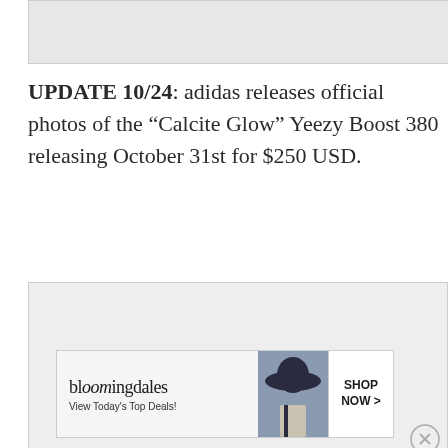[Figure (other): Top image placeholder, light gray background]
UPDATE 10/24: adidas releases official photos of the “Calcite Glow” Yeezy Boost 380 releasing October 31st for $250 USD.
[Figure (other): Advertisement placeholder, light gray background with Fender icon and close button]
[Figure (other): Bloomingdale's advertisement banner: 'View Today's Top Deals!' with SHOP NOW > button and model wearing hat]